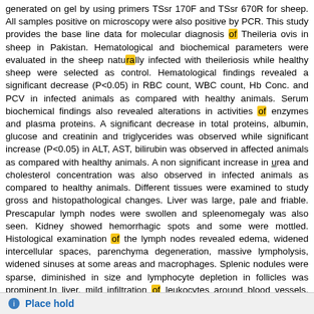generated on gel by using primers TSsr 170F and TSsr 670R for sheep. All samples positive on microscopy were also positive by PCR. This study provides the base line data for molecular diagnosis of Theileria ovis in sheep in Pakistan. Hematological and biochemical parameters were evaluated in the sheep naturally infected with theileriosis while healthy sheep were selected as control. Hematological findings revealed a significant decrease (P<0.05) in RBC count, WBC count, Hb Conc. and PCV in infected animals as compared with healthy animals. Serum biochemical findings also revealed alterations in activities of enzymes and plasma proteins. A significant decrease in total proteins, albumin, glucose and creatinin and triglycerides was observed while significant increase (P<0.05) in ALT, AST, bilirubin was observed in affected animals as compared with healthy animals. A non significant increase in urea and cholesterol concentration was also observed in infected animals as compared to healthy animals. Different tissues were examined to study gross and histopathological changes. Liver was large, pale and friable. Prescapular lymph nodes were swollen and spleenomegaly was also seen. Kidney showed hemorrhagic spots and some were mottled. Histological examination of the lymph nodes revealed edema, widened intercellular spaces, parenchyma degeneration, massive lympholysis, widened sinuses at some areas and macrophages. Splenic nodules were sparse, diminished in size and lymphocyte depletion in follicles was prominent.In liver, mild infiltration of leukocytes around blood vessels, vacuolation in hepatocytes, increase in sinusoidal space and atrophy of hepatic cord was seen and hepatic cord was broken. In kidney, degeneration of tubular epithelium cells was seen. This study concluded that theileriosis in sheep was associated with some alterations in blood parameters and histopathological changes which could be useful in the diagnosis of ovine theileriosis.
Availability: Items available for loan: UVAS Library [Call number: 1642,T] (1).